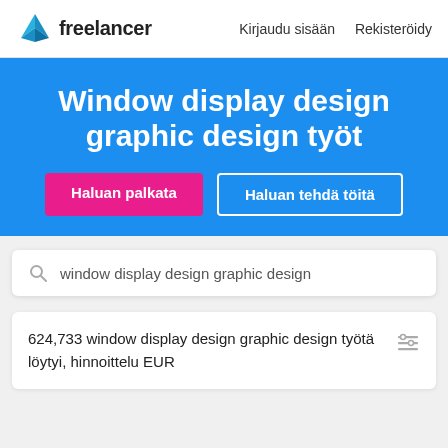[Figure (logo): Freelancer logo with blue origami bird icon and 'freelancer' wordmark in dark text]
Kirjaudu sisään   Rekisteröidy
Window display design graphic design työt
Haluan palkata
Haluan tehdä töitä
window display design graphic design
624,733 window display design graphic design työtä löytyi, hinnoittelu EUR